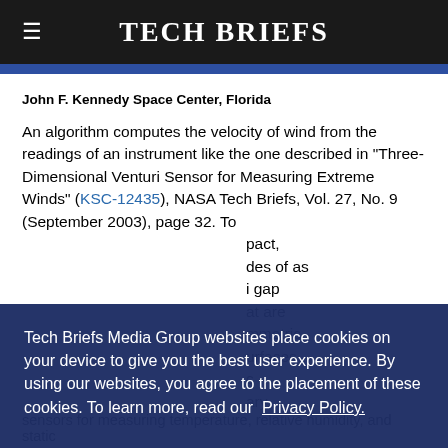Tech Briefs
John F. Kennedy Space Center, Florida
An algorithm computes the velocity of wind from the readings of an instrument like the one described in "Three-Dimensional Venturi Sensor for Measuring Extreme Winds" (KSC-12435), NASA Tech Briefs, Vol. 27, No. 9 (September 2003), page 32. To [...]pact, [...]des of as [...] gap [...] at are [...]mmetric [...]urfaces [...]c [...]ary
Tech Briefs Media Group websites place cookies on your device to give you the best user experience. By using our websites, you agree to the placement of these cookies. To learn more, read our Privacy Policy.
Accept & Continue
sensors for measuring temperature, relative humidity, and static